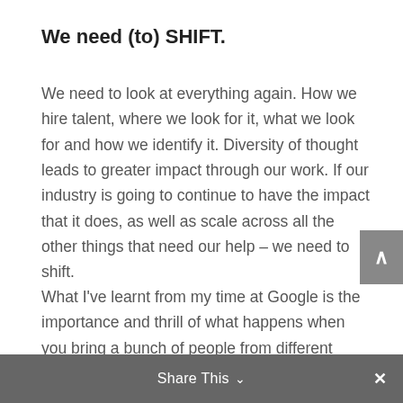We need (to) SHIFT.
We need to look at everything again. How we hire talent, where we look for it, what we look for and how we identify it. Diversity of thought leads to greater impact through our work. If our industry is going to continue to have the impact that it does, as well as scale across all the other things that need our help – we need to shift.
What I've learnt from my time at Google is the importance and thrill of what happens when you bring a bunch of people from different types of backgrounds together. Through diverse eyes and ears, we see things
Share This ∨  ×